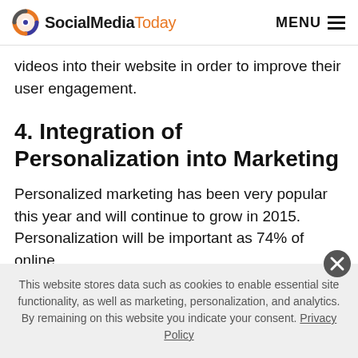SocialMediaToday | MENU
videos into their website in order to improve their user engagement.
4. Integration of Personalization into Marketing
Personalized marketing has been very popular this year and will continue to grow in 2015. Personalization will be important as 74% of online
This website stores data such as cookies to enable essential site functionality, as well as marketing, personalization, and analytics. By remaining on this website you indicate your consent. Privacy Policy